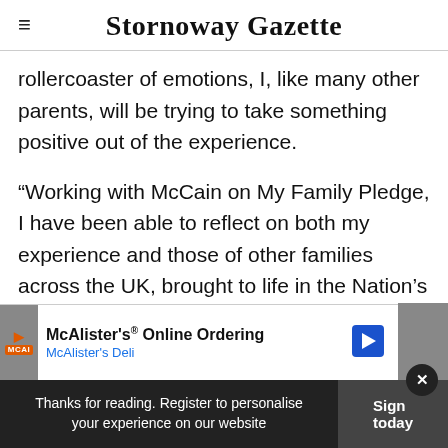≡  Stornoway Gazette
rollercoaster of emotions, I, like many other parents, will be trying to take something positive out of the experience.
“Working with McCain on My Family Pledge, I have been able to reflect on both my experience and those of other families across the UK, brought to life in the Nation’s Conversation research
[Figure (screenshot): McAlister's Online Ordering advertisement banner: McAlister's Deli logo with play button, orange MCAI badge, blue turn-right arrow icon]
Thanks for reading. Register to personalise your experience on our website   Sign today